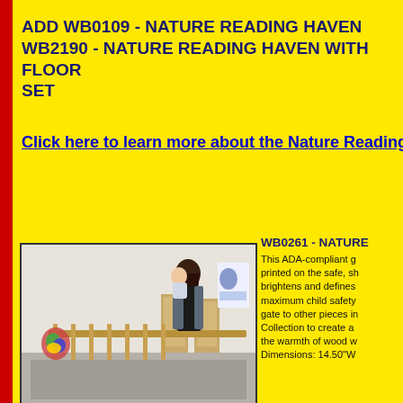ADD WB0109 - NATURE READING HAVEN WB2190 - NATURE READING HAVEN WITH FLOOR SET
Click here to learn more about the Nature Reading Haven
[Figure (photo): A woman holding a baby standing near wooden furniture pieces in a classroom/nursery setting with colorful wall art]
WB0261 - NATURE This ADA-compliant printed on the safe, sh brightens and defines maximum child safety gate to other pieces in Collection to create a the warmth of wood w Dimensions: 14.50"W